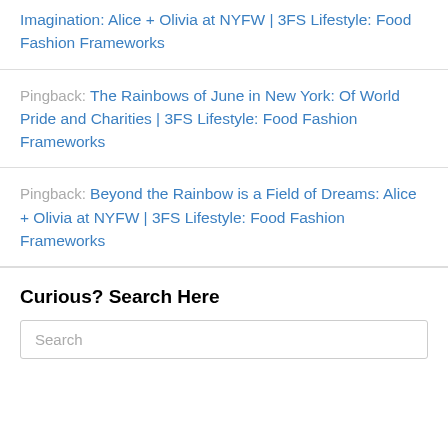Imagination: Alice + Olivia at NYFW | 3FS Lifestyle: Food Fashion Frameworks
Pingback: The Rainbows of June in New York: Of World Pride and Charities | 3FS Lifestyle: Food Fashion Frameworks
Pingback: Beyond the Rainbow is a Field of Dreams: Alice + Olivia at NYFW | 3FS Lifestyle: Food Fashion Frameworks
Curious? Search Here
Search